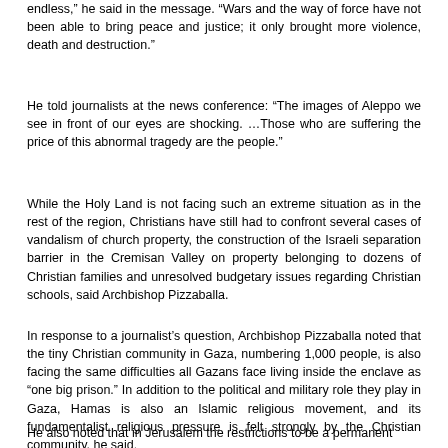endless,” he said in the message. “Wars and the way of force have not been able to bring peace and justice; it only brought more violence, death and destruction.”
He told journalists at the news conference: “The images of Aleppo we see in front of our eyes are shocking. …Those who are suffering the price of this abnormal tragedy are the people.”
While the Holy Land is not facing such an extreme situation as in the rest of the region, Christians have still had to confront several cases of vandalism of church property, the construction of the Israeli separation barrier in the Cremisan Valley on property belonging to dozens of Christian families and unresolved budgetary issues regarding Christian schools, said Archbishop Pizzaballa.
In response to a journalist’s question, Archbishop Pizzaballa noted that the tiny Christian community in Gaza, numbering 1,000 people, is also facing the same difficulties all Gazans face living inside the enclave as “one big prison.” In addition to the political and military role they play in Gaza, Hamas is also an Islamic religious movement, and its fundamentalist religious pressure is felt strongly by the Christian community, he said.
He also noted that in Jerusalem the restrictions to be a permanent